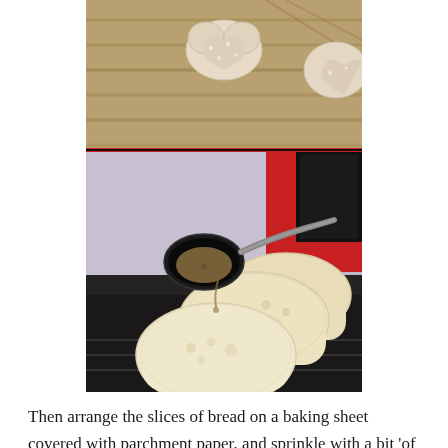[Figure (photo): Two stacked food photos: top image shows heart-shaped sugar-coated cookies on a wooden surface; bottom image shows slices of white bread on a dark baking sheet with a spoon drizzling liquid over them.]
Then arrange the slices of bread on a baking sheet covered with parchment paper, and sprinkle with a bit 'of